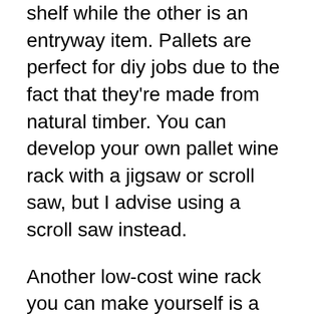shelf while the other is an entryway item. Pallets are perfect for diy jobs due to the fact that they're made from natural timber. You can develop your own pallet wine rack with a jigsaw or scroll saw, but I advise using a scroll saw instead.
Another low-cost wine rack you can make yourself is a wall mounted wine rack. This kind of rack is simple to make and can be mounted on the wall surface. You'll need a jigsaw to reduce the grooves and nail the boards together. You can make use of the timber in its natural shade, or discolor and also paint it to match your space's style. A wall surface placed wine rack is the best size for a white wine bar location, and it's inexpensive to develop.